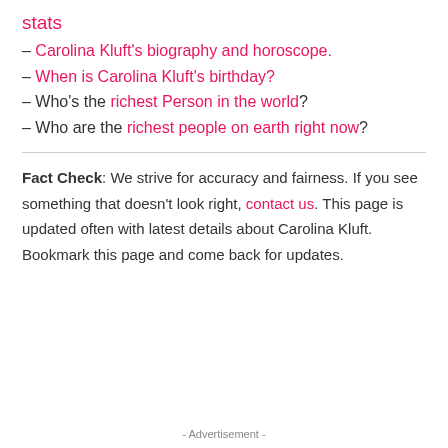stats
– Carolina Kluft's biography and horoscope.
– When is Carolina Kluft's birthday?
– Who's the richest Person in the world?
– Who are the richest people on earth right now?
Fact Check: We strive for accuracy and fairness. If you see something that doesn't look right, contact us. This page is updated often with latest details about Carolina Kluft. Bookmark this page and come back for updates.
- Advertisement -